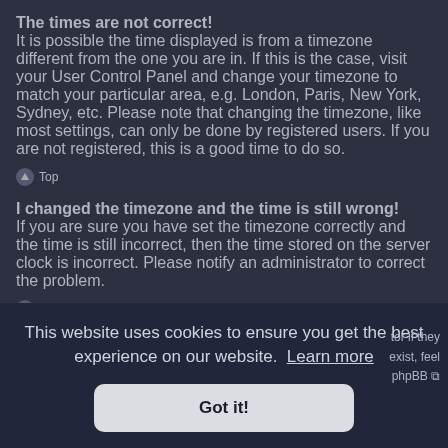The times are not correct!
It is possible the time displayed is from a timezone different from the one you are in. If this is the case, visit your User Control Panel and change your timezone to match your particular area, e.g. London, Paris, New York, Sydney, etc. Please note that changing the timezone, like most settings, can only be done by registered users. If you are not registered, this is a good time to do so.
Top
I changed the timezone and the time is still wrong!
If you are sure you have set the timezone correctly and the time is still incorrect, then the time stored on the server clock is incorrect. Please notify an administrator to correct the problem.
Top
This website uses cookies to ensure you get the best experience on our website. Learn more
Got it!
tor if they exist, feel phpBB